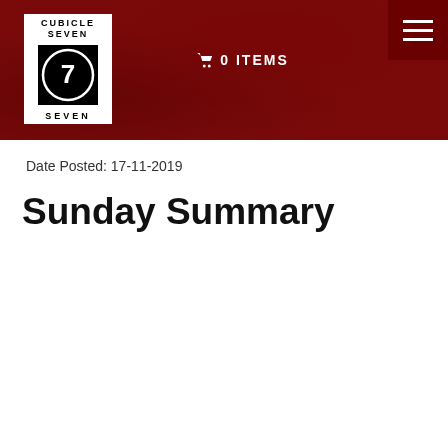Cubicle 7 — 0 ITEMS
Date Posted: 17-11-2019
Sunday Summary
[Figure (illustration): Cubicle 7 branded promotional image for #SundaySummary. Dark red background with Cubicle 7 logo (circle with 7) and #SundaySummary text in white.]